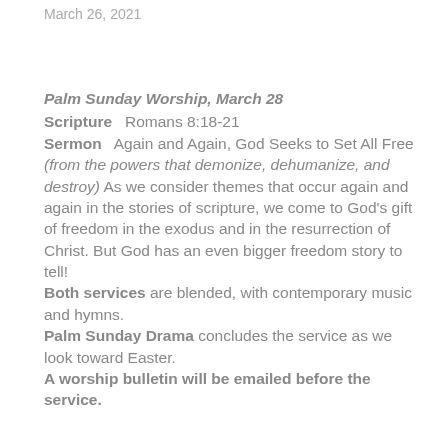March 26, 2021
Palm Sunday Worship, March 28
Scripture   Romans 8:18-21
Sermon   Again and Again, God Seeks to Set All Free (from the powers that demonize, dehumanize, and destroy) As we consider themes that occur again and again in the stories of scripture, we come to God's gift of freedom in the exodus and in the resurrection of Christ. But God has an even bigger freedom story to tell!
Both services are blended, with contemporary music and hymns.
Palm Sunday Drama concludes the service as we look toward Easter.
A worship bulletin will be emailed before the service.